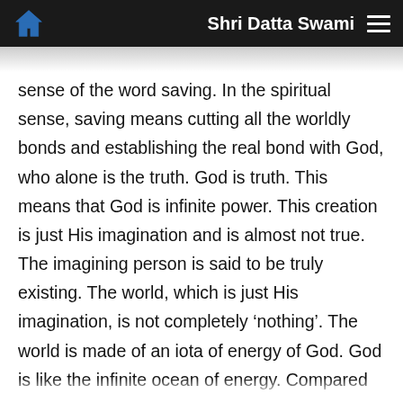Shri Datta Swami
sense of the word saving. In the spiritual sense, saving means cutting all the worldly bonds and establishing the real bond with God, who alone is the truth. God is truth. This means that God is infinite power. This creation is just His imagination and is almost not true. The imagining person is said to be truly existing. The world, which is just His imagination, is not completely ‘nothing’. The world is made of an iota of energy of God. God is like the infinite ocean of energy. Compared to God the world is almost nothing. Thus this entire creation is under the full control of God. Just like the person doing